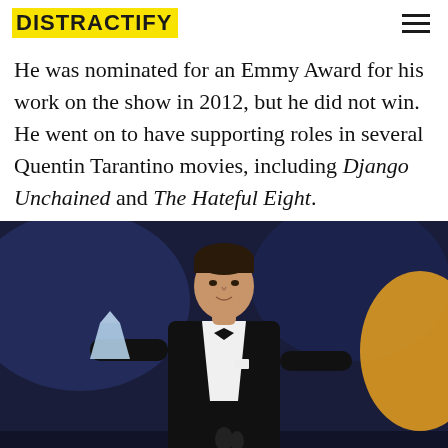DISTRACTIFY
He was nominated for an Emmy Award for his work on the show in 2012, but he did not win. He went on to have supporting roles in several Quentin Tarantino movies, including Django Unchained and The Hateful Eight.
[Figure (photo): A man in a black tuxedo with bow tie holding a crystal award trophy at a podium with microphones, arms spread, at an award ceremony with blue/purple stage lighting and a yellow element in the background right.]
SOURCE: GETTY